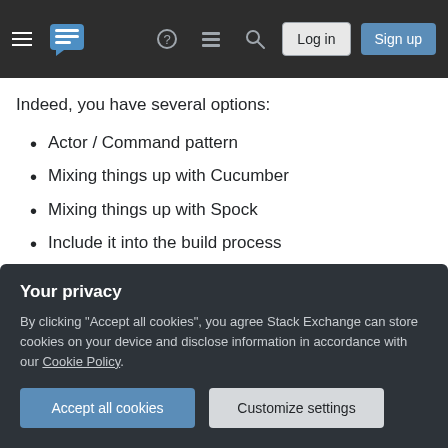Stack Exchange navigation bar with Log in and Sign up buttons
Indeed, you have several options:
Actor / Command pattern
Mixing things up with Cucumber
Mixing things up with Spock
Include it into the build process
Make it live next to the application's own code base
To list a few. Cucumber and Spock will give you the
Your privacy
By clicking "Accept all cookies", you agree Stack Exchange can store cookies on your device and disclose information in accordance with our Cookie Policy.
Accept all cookies | Customize settings